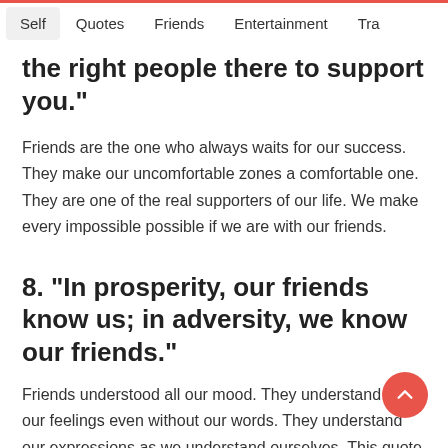Self   Quotes   Friends   Entertainment   Tra
the right people there to support you.”
Friends are the one who always waits for our success. They make our uncomfortable zones a comfortable one. They are one of the real supporters of our life. We make every impossible possible if we are with our friends.
8. “In prosperity, our friends know us; in adversity, we know our friends.”
Friends understood all our mood. They understand all our feelings even without our words. They understand our expressions as we understand ourselves. This quote on